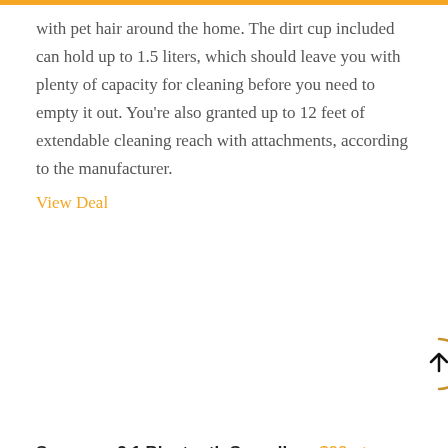with pet hair around the home. The dirt cup included can hold up to 1.5 liters, which should leave you with plenty of capacity for cleaning before you need to empty it out. You're also granted up to 12 feet of extendable cleaning reach with attachments, according to the manufacturer.
View Deal
Samsung 2.1 Bluetooth Soundbar: $99 at Walmart
There's a fire sale happening at Walmart today for this 2.1-channel soundbar from Samsung that's available at just under